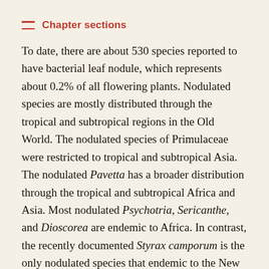Chapter sections
To date, there are about 530 species reported to have bacterial leaf nodule, which represents about 0.2% of all flowering plants. Nodulated species are mostly distributed through the tropical and subtropical regions in the Old World. The nodulated species of Primulaceae were restricted to tropical and subtropical Asia. The nodulated Pavetta has a broader distribution through the tropical and subtropical Africa and Asia. Most nodulated Psychotria, Sericanthe, and Dioscorea are endemic to Africa. In contrast, the recently documented Styrax camporum is the only nodulated species that endemic to the New World, Brazil, and South America.